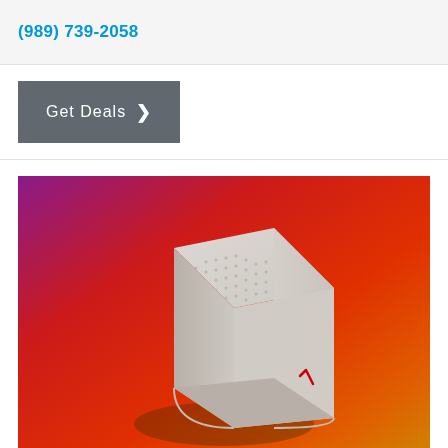(989) 739-2058
Get Deals >
[Figure (photo): A white cube-shaped Verizon WiFi router/extender device with a perforated top surface, sitting on an orange-to-red gradient background with a small red Verizon checkmark logo on its front face.]